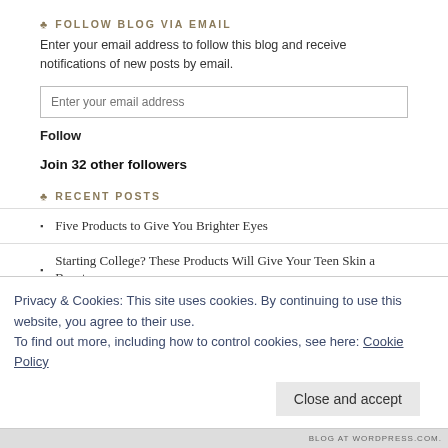♣ FOLLOW BLOG VIA EMAIL
Enter your email address to follow this blog and receive notifications of new posts by email.
Follow
Join 32 other followers
♣ RECENT POSTS
Five Products to Give You Brighter Eyes
Starting College? These Products Will Give Your Teen Skin a Boost
Treat Yourself for Under £10
Allantoin – The Best Soothing Ingredient that Nature Has to Offer?
Five Products to Help You to Get Rid of Stretch Marks
Privacy & Cookies: This site uses cookies. By continuing to use this website, you agree to their use.
To find out more, including how to control cookies, see here: Cookie Policy
Close and accept